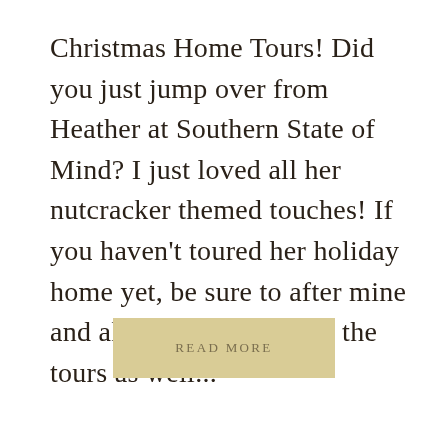Christmas Home Tours! Did you just jump over from Heather at Southern State of Mind? I just loved all her nutcracker themed touches! If you haven't toured her holiday home yet, be sure to after mine and also catch the rest of the tours as well...
READ MORE